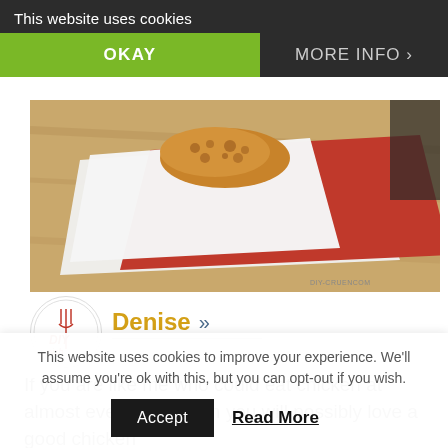This website uses cookies
OKAY
MORE INFO
[Figure (photo): Food photo showing fried chicken on red and white napkins on a wooden surface. Watermark: DIY-CRUENCOM]
[Figure (logo): DIY Nish circular logo with fork icon and pink/red text]
Denise »
If you are like me who could eat chicken at almost every meal then you will possibly love a good chicken
This website uses cookies to improve your experience. We'll assume you're ok with this, but you can opt-out if you wish.
Accept
Read More